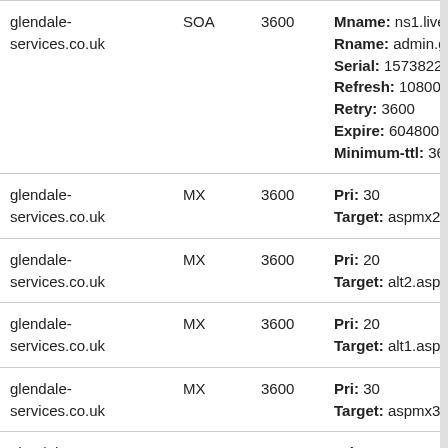| Name | Type | TTL | Data |
| --- | --- | --- | --- |
| glendale-services.co.uk | SOA | 3600 | Mname: ns1.livedns.c
Rname: admin.glenda
Serial: 1573822484
Refresh: 10800
Retry: 3600
Expire: 604800
Minimum-ttl: 3600 |
| glendale-services.co.uk | MX | 3600 | Pri: 30
Target: aspmx2.goog |
| glendale-services.co.uk | MX | 3600 | Pri: 20
Target: alt2.aspmx.l.g |
| glendale-services.co.uk | MX | 3600 | Pri: 20
Target: alt1.aspmx.l.g |
| glendale-services.co.uk | MX | 3600 | Pri: 30
Target: aspmx3.goog |
| glendale-services.co.uk | MX | 3600 | Pri: 10
Target: aspmx.l.goog |
| glendale- | TXT | 3600 | Txt: v=spf1 include: s |